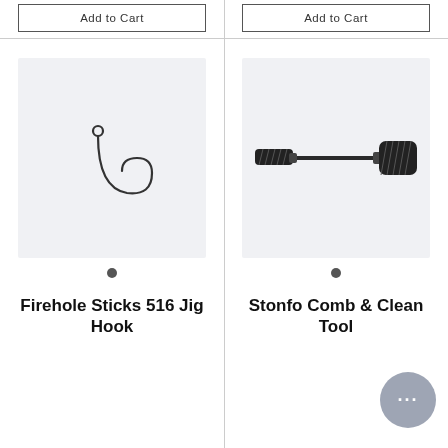Add to Cart
Add to Cart
[Figure (photo): Firehole Sticks 516 Jig Hook - a single dark fishing hook with a round eye and curved shank]
[Figure (photo): Stonfo Comb & Clean Tool - a black handled tool with textured grip ends and a thin metal rod]
Firehole Sticks 516 Jig Hook
Stonfo Comb & Clean Tool